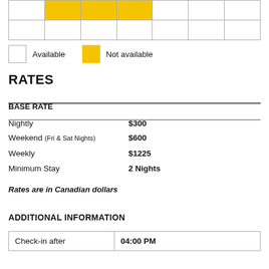[Figure (table-as-image): Availability calendar grid with some cells highlighted in yellow (not available) and others white (available)]
Available   Not available
RATES
BASE RATE
| Nightly | $300 |
| Weekend (Fri & Sat Nights) | $600 |
| Weekly | $1225 |
| Minimum Stay | 2 Nights |
Rates are in Canadian dollars
ADDITIONAL INFORMATION
| Check-in after | 04:00 PM |